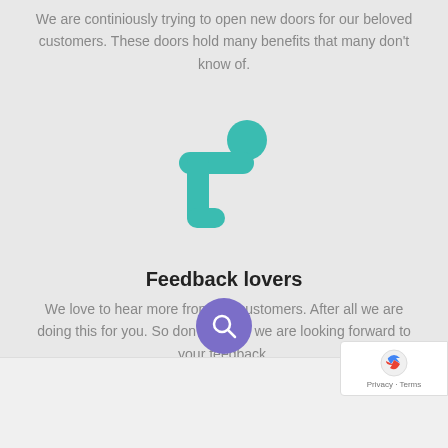We are continiously trying to open new doors for our beloved customers. These doors hold many benefits that many don't know of.
[Figure (logo): Teal/green abstract logo shaped like a stylized figure or letter T with a circular dot on top right]
Feedback lovers
We love to hear more from our customers. After all we are doing this for you. So don't be shy, we are looking forward to your feedback.
[Figure (other): Purple circular search button with magnifying glass icon at bottom center, and reCAPTCHA badge at bottom right]